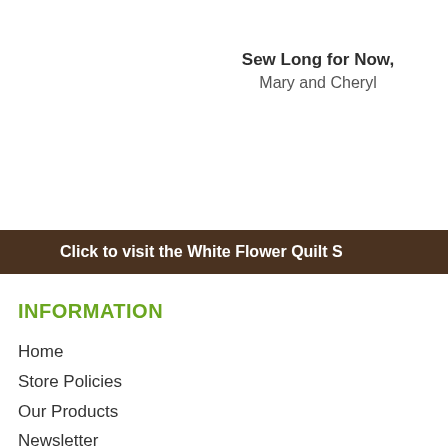Sew Long for Now,
Mary and Cheryl
Click to visit the White Flower Quilt S
INFORMATION
Home
Store Policies
Our Products
Newsletter
Contact Us